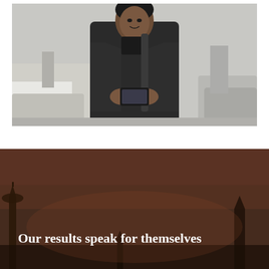[Figure (photo): A man in a dark coat and backpack looking down at his smartphone, standing outdoors near cars on a city street. Desaturated/muted color photo.]
[Figure (photo): A darkened cityscape or architectural scene at dusk/evening with warm brown-red tones, likely a building or monument silhouette.]
Our results speak for themselves